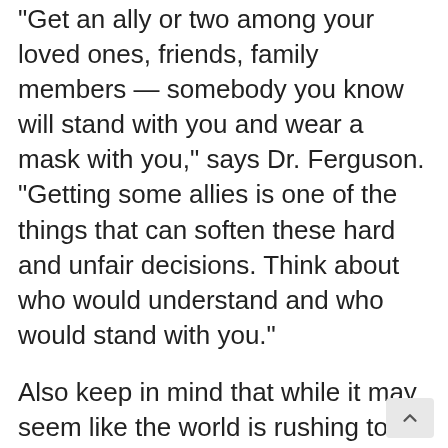“Get an ally or two among your loved ones, friends, family members — somebody you know will stand with you and wear a mask with you,” says Dr. Ferguson. “Getting some allies is one of the things that can soften these hard and unfair decisions. Think about who would understand and who would stand with you.”
Also keep in mind that while it may seem like the world is rushing to return to pre-COVID normalcy, there are plenty of people just like you who are weary and continuing to take precautions.
In fact, a March 2021 survey conducted by RMG Research and sponsored by HealthInsurance.com that polled 1,000